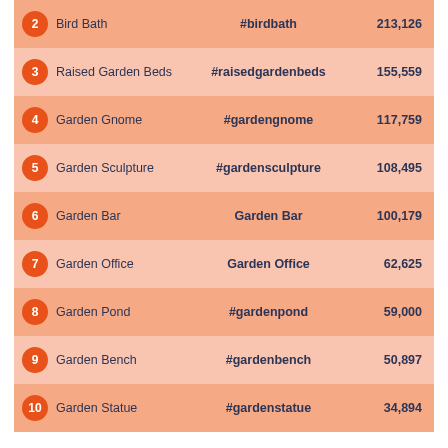| Rank | Item | Hashtag | Count |
| --- | --- | --- | --- |
| 2 | Bird Bath | #birdbath | 213,126 |
| 3 | Raised Garden Beds | #raisedgardenbeds | 155,559 |
| 4 | Garden Gnome | #gardengnome | 117,759 |
| 5 | Garden Sculpture | #gardensculpture | 108,495 |
| 6 | Garden Bar | Garden Bar | 100,179 |
| 7 | Garden Office | Garden Office | 62,625 |
| 8 | Garden Pond | #gardenpond | 59,000 |
| 9 | Garden Bench | #gardenbench | 50,897 |
| 10 | Garden Statue | #gardenstatue | 34,894 |
The most popular garden trends on TikTok
[Figure (illustration): Dark blue-grey banner with TikTok logo watermarks and white italic serif text reading 'Most popular garden design trends on TikTok']